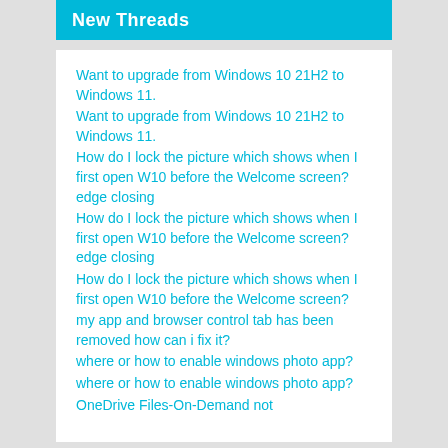New Threads
Want to upgrade from Windows 10 21H2 to Windows 11.
Want to upgrade from Windows 10 21H2 to Windows 11.
How do I lock the picture which shows when I first open W10 before the Welcome screen?
edge closing
How do I lock the picture which shows when I first open W10 before the Welcome screen?
edge closing
How do I lock the picture which shows when I first open W10 before the Welcome screen?
my app and browser control tab has been removed how can i fix it?
where or how to enable windows photo app?
where or how to enable windows photo app?
OneDrive Files-On-Demand not